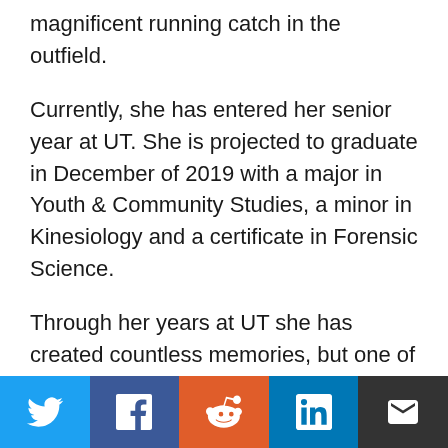magnificent running catch in the outfield.
Currently, she has entered her senior year at UT. She is projected to graduate in December of 2019 with a major in Youth & Community Studies, a minor in Kinesiology and a certificate in Forensic Science.
Through her years at UT she has created countless memories, but one of the greatest moments of her student and athletic career came in May of 2019, when her brother was able to surprise her during senior day at her softball game.
After not seeing him for nearly two years, she would
[Figure (infographic): Social share bar with Twitter, Facebook, Reddit, LinkedIn, and Email buttons]